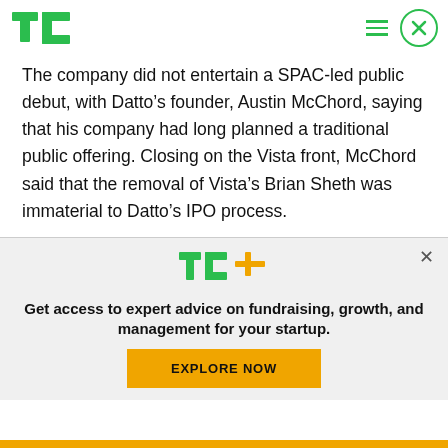TechCrunch
The company did not entertain a SPAC-led public debut, with Datto’s founder, Austin McChord, saying that his company had long planned a traditional public offering. Closing on the Vista front, McChord said that the removal of Vista’s Brian Sheth was immaterial to Datto’s IPO process.
[Figure (logo): TechCrunch TC+ logo with green TC letters and orange plus sign]
Get access to expert advice on fundraising, growth, and management for your startup.
EXPLORE NOW